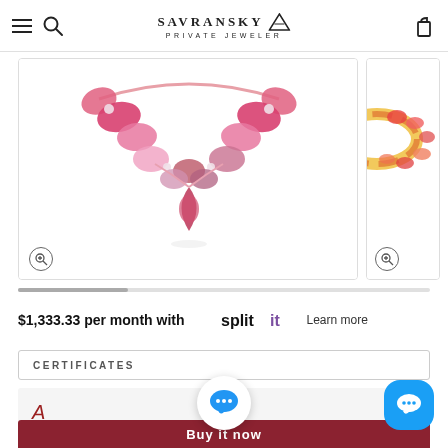SAVRANSKY PRIVATE JEWELER
[Figure (photo): Pink gemstone necklace with teardrop center stone and surrounding colorful gems on white background]
[Figure (photo): Partial view of a colorful gemstone ring on white background]
$1,333.33 per month with Splitit Learn more
CERTIFICATES
[Figure (screenshot): Appraisal certificate partial view showing red italic text starting with 'A']
[Figure (screenshot): Chat bubble icon - blue speech bubble on white circle]
[Figure (screenshot): Chat button - white chat icon on blue rounded rectangle]
Buy it now